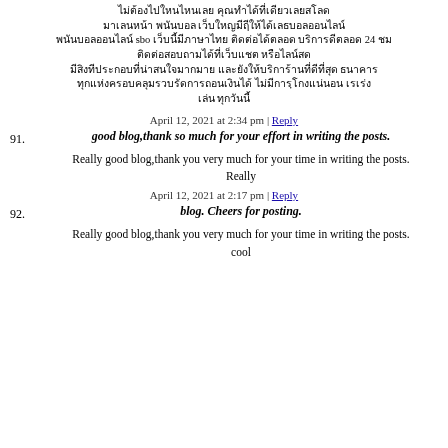Thai text block with 'sbo' keyword
April 12, 2021 at 2:34 pm | Reply
91. good blog,thank so much for your effort in writing the posts.
Really good blog,thank you very much for your time in writing the posts.
Really
April 12, 2021 at 2:17 pm | Reply
92. blog. Cheers for posting.
Really good blog,thank you very much for your time in writing the posts.
cool